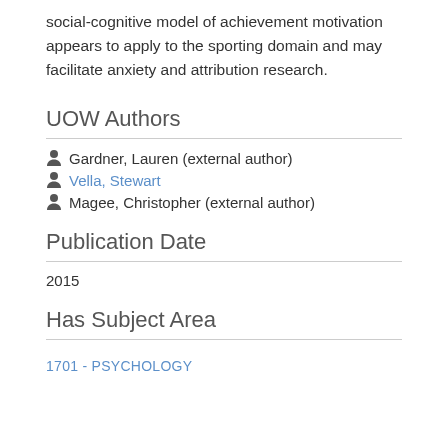social-cognitive model of achievement motivation appears to apply to the sporting domain and may facilitate anxiety and attribution research.
UOW Authors
Gardner, Lauren (external author)
Vella, Stewart
Magee, Christopher (external author)
Publication Date
2015
Has Subject Area
1701 - PSYCHOLOGY